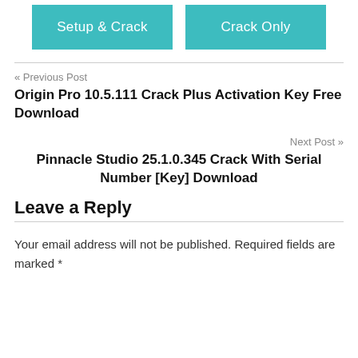[Figure (other): Two teal/turquoise buttons labeled 'Setup & Crack' and 'Crack Only']
« Previous Post
Origin Pro 10.5.111 Crack Plus Activation Key Free Download
Next Post »
Pinnacle Studio 25.1.0.345 Crack With Serial Number [Key] Download
Leave a Reply
Your email address will not be published. Required fields are marked *